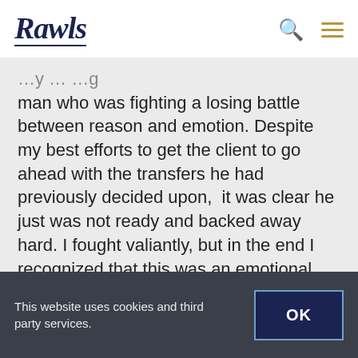Rawls
man who was fighting a losing battle between reason and emotion. Despite my best efforts to get the client to go ahead with the transfers he had previously decided upon,  it was clear he just was not ready and backed away hard. I fought valiantly, but in the end I recognized that this was an emotional conversation and no amount of technical expertise on how to get the job
This website uses cookies and third party services. OK